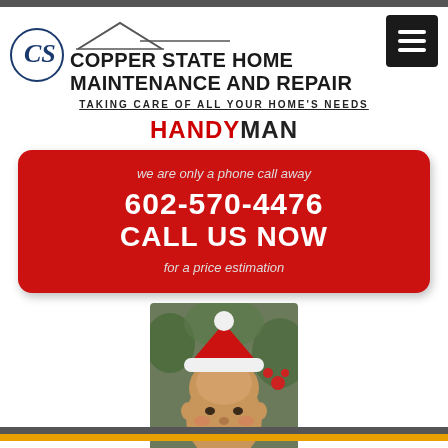[Figure (logo): Copper State Home Maintenance and Repair logo with CS monogram in circle and house roofline graphic]
COPPER STATE HOME MAINTENANCE AND REPAIR
TAKING CARE OF ALL YOUR HOME'S NEEDS
HANDYMAN
we are only a phone call away
602-570-4476
CALL US NOW
for a price estimation
[Figure (photo): Man wearing a red and white Santa Claus hat, smiling, outdoor background with foliage]